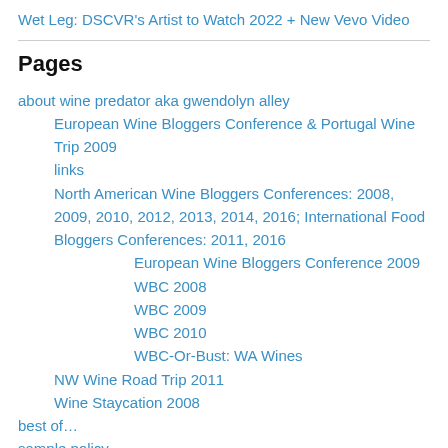Wet Leg: DSCVR's Artist to Watch 2022 + New Vevo Video
Pages
about wine predator aka gwendolyn alley
European Wine Bloggers Conference & Portugal Wine Trip 2009
links
North American Wine Bloggers Conferences: 2008, 2009, 2010, 2012, 2013, 2014, 2016; International Food Bloggers Conferences: 2011, 2016
European Wine Bloggers Conference 2009
WBC 2008
WBC 2009
WBC 2010
WBC-Or-Bust: WA Wines
NW Wine Road Trip 2011
Wine Staycation 2008
best of…
sample policy